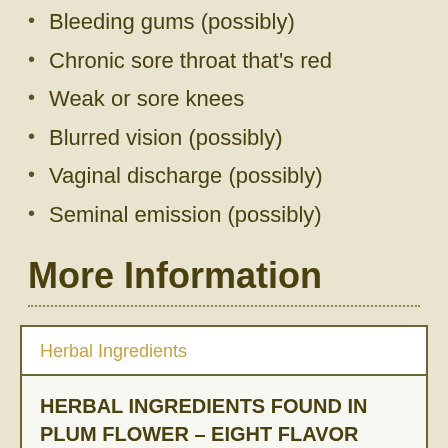Bleeding gums (possibly)
Chronic sore throat that's red
Weak or sore knees
Blurred vision (possibly)
Vaginal discharge (possibly)
Seminal emission (possibly)
More Information
| Herbal Ingredients |
| --- |
| HERBAL INGREDIENTS FOUND IN PLUM FLOWER – EIGHT FLAVOR REHMANNIA – ZHI BAI DI HUANG WAN: |